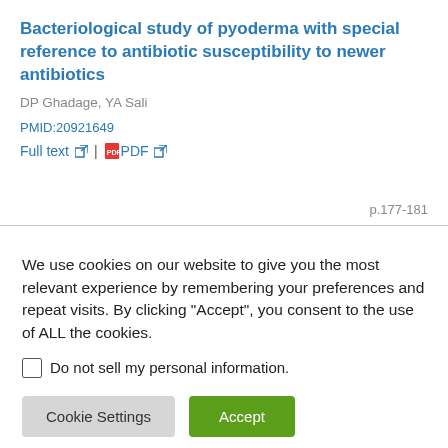Bacteriological study of pyoderma with special reference to antibiotic susceptibility to newer antibiotics
DP Ghadage, YA Sali
PMID:20921649
Full text | PDF
p.177-181
We use cookies on our website to give you the most relevant experience by remembering your preferences and repeat visits. By clicking “Accept”, you consent to the use of ALL the cookies.
Do not sell my personal information.
Cookie Settings   Accept